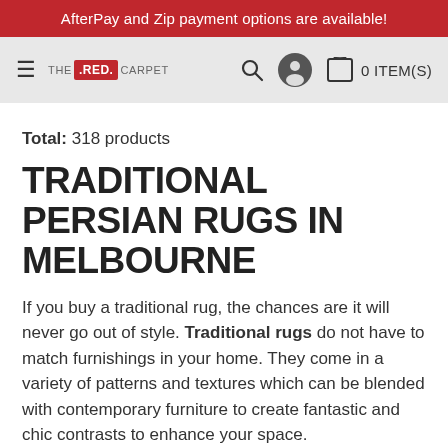AfterPay and Zip payment options are available!
[Figure (logo): The Red Carpet logo with hamburger menu, search icon, account icon, and cart showing 0 ITEM(S)]
Total: 318 products
TRADITIONAL PERSIAN RUGS IN MELBOURNE
If you buy a traditional rug, the chances are it will never go out of style. Traditional rugs do not have to match furnishings in your home. They come in a variety of patterns and textures which can be blended with contemporary furniture to create fantastic and chic contrasts to enhance your space.